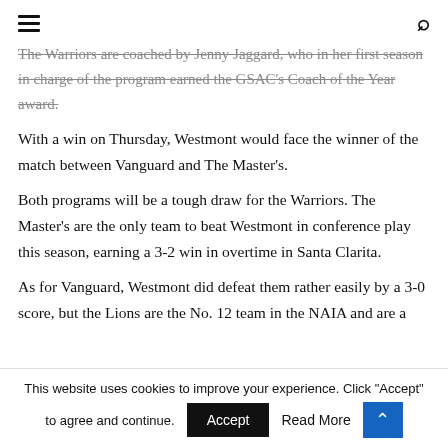[hamburger menu] [search icon]
The Warriors are coached by Jenny Jaggard, who in her first season in charge of the program earned the GSAC's Coach of the Year award.
With a win on Thursday, Westmont would face the winner of the match between Vanguard and The Master's.
Both programs will be a tough draw for the Warriors. The Master's are the only team to beat Westmont in conference play this season, earning a 3-2 win in overtime in Santa Clarita.
As for Vanguard, Westmont did defeat them rather easily by a 3-0 score, but the Lions are the No. 12 team in the NAIA and are a
This website uses cookies to improve your experience. Click "Accept" to agree and continue. Accept Read More